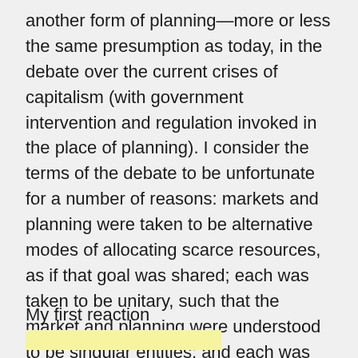another form of planning—more or less the same presumption as today, in the debate over the current crises of capitalism (with government intervention and regulation invoked in the place of planning). I consider the terms of the debate to be unfortunate for a number of reasons: markets and planning were taken to be alternative modes of allocating scarce resources, as if that goal was shared; each was taken to be unitary, such that the market and planning were understood to be singular entities; and each was presumed to correspond to a different approach to economics, in the sense that markets were presumed to be neoclassical while planning corresponded to Marxism.
My first reaction